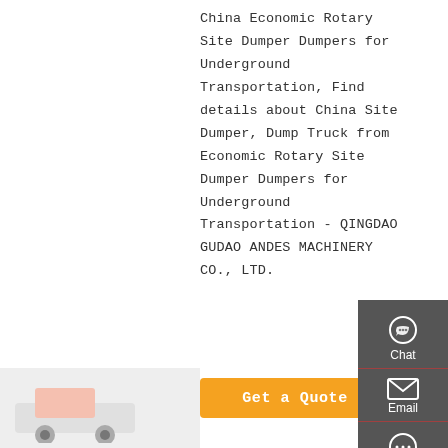[Figure (photo): Partial view of a site dumper/dump truck product image on the left side of the page]
China Economic Rotary Site Dumper Dumpers for Underground Transportation, Find details about China Site Dumper, Dump Truck from Economic Rotary Site Dumper Dumpers for Underground Transportation - QINGDAO GUDAO ANDES MACHINERY CO., LTD.
[Figure (screenshot): Sidebar UI widget showing Chat, Email, Contact, and Top navigation buttons on a dark gray background]
Get a Quote